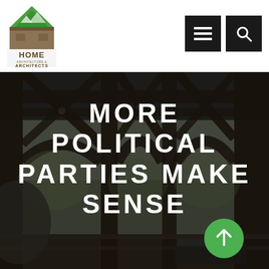[Figure (logo): Home Architects logo with green roof shape, mountain silhouette, and text HOME ARCHITECTS]
[Figure (other): Navigation bar with hamburger menu button and search button, both dark/black squares]
[Figure (photo): Interior photo of a timber frame structure with dark wooden beams and columns, viewed from below, with trees visible in background through openings]
MORE POLITICAL PARTIES MAKE SENSE
[Figure (other): Green circular scroll-to-top button with upward arrow]